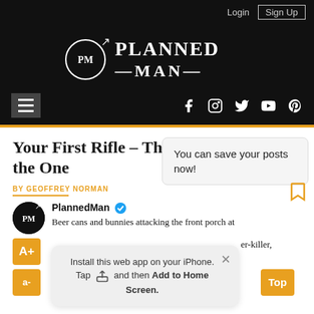Login  Sign Up
[Figure (logo): Planned Man logo with PM circle and arrow icon, white text on black background]
hamburger menu, social icons: Facebook, Instagram, Twitter, YouTube, Pinterest
Your First Rifle – This is the One
BY GEOFFREY NORMAN
You can save your posts now!
PlannedMan
Beer cans and bunnies attacking the front porch at ... er-killer,
Install this web app on your iPhone. Tap and then Add to Home Screen.
A+
a-
Top